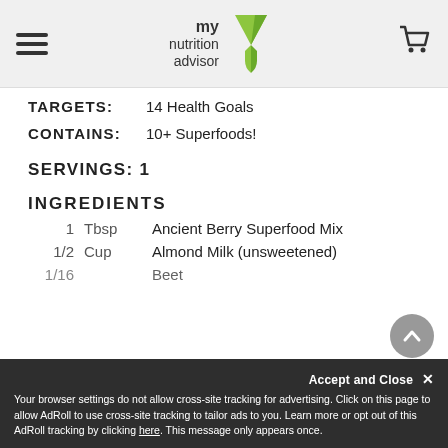[Figure (logo): My Nutrition Advisor logo with green Y-shaped icon]
TARGETS:   14 Health Goals
CONTAINS:  10+ Superfoods!
SERVINGS: 1
INGREDIENTS
1   Tbsp   Ancient Berry Superfood Mix
1/2   Cup   Almond Milk (unsweetened)
1/16   ...   Beet...
Accept and Close ✕
Your browser settings do not allow cross-site tracking for advertising. Click on this page to allow AdRoll to use cross-site tracking to tailor ads to you. Learn more or opt out of this AdRoll tracking by clicking here. This message only appears once.